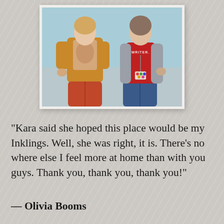[Figure (photo): A framed Polaroid-style photograph of two women posing together. The woman on the left wears a mustard yellow cardigan over a graphic t-shirt and red/orange wide-leg trousers. The woman on the right wears a red t-shirt that says 'WRITER.' with a lanyard/badge, and a grey knit cardigan with jeans. The background is light blue/teal.]
“Kara said she hoped this place would be my Inklings. Well, she was right, it is. There’s no where else I feel more at home than with you guys. Thank you, thank you, thank you!”
— Olivia Booms